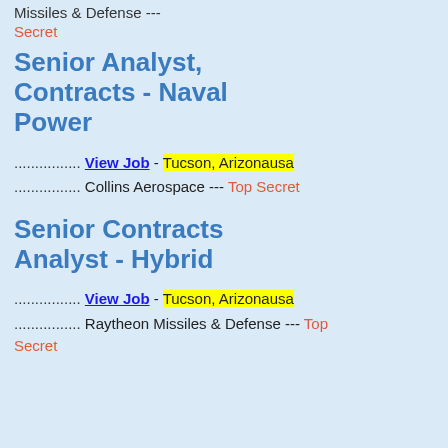Missiles & Defense --- Secret
Senior Analyst, Contracts - Naval Power
................ View Job - Tucson, Arizonausa
................ Collins Aerospace --- Top Secret
Senior Contracts Analyst - Hybrid
................ View Job - Tucson, Arizonausa
................ Raytheon Missiles & Defense --- Top Secret